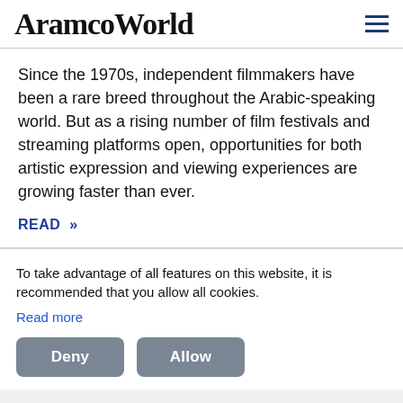AramcoWorld
Since the 1970s, independent filmmakers have been a rare breed throughout the Arabic-speaking world. But as a rising number of film festivals and streaming platforms open, opportunities for both artistic expression and viewing experiences are growing faster than ever.
READ »
To take advantage of all features on this website, it is recommended that you allow all cookies.
Read more
Deny
Allow